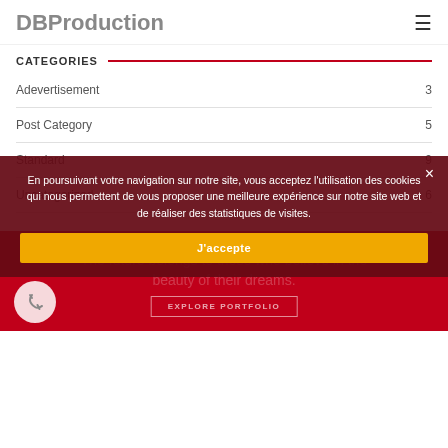DBProduction
CATEGORIES
Adevertisement 3
Post Category 5
Standard 9
Uncategorized 6
[Figure (screenshot): Dark red cookie consent overlay with orange accept button and background red banner section with phone icon and Explore Portfolio button]
En poursuivant votre navigation sur notre site, vous acceptez l'utilisation des cookies qui nous permettent de vous proposer une meilleure expérience sur notre site web et de réaliser des statistiques de visites.
J'accepte